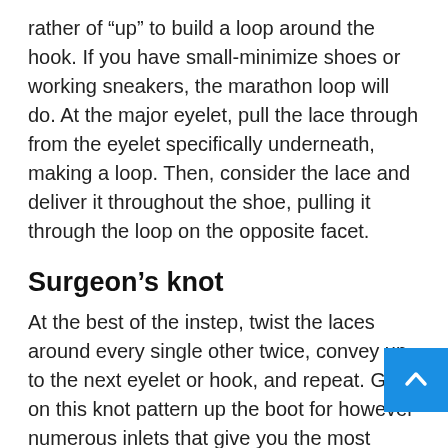rather of “up” to build a loop around the hook. If you have small-minimize shoes or working sneakers, the marathon loop will do. At the major eyelet, pull the lace through from the eyelet specifically underneath, making a loop. Then, consider the lace and deliver it throughout the shoe, pulling it through the loop on the opposite facet.
Surgeon’s knot
At the best of the instep, twist the laces around every single other twice, convey up to the next eyelet or hook, and repeat. Go on this knot pattern up the boot for however numerous inlets that give you the most assist without the need of staying much too constricting. This locks the heel down and prevents the foot from shifting ahead in the